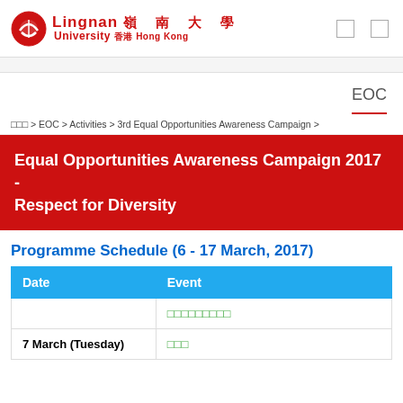Lingnan 嶺南大學 University 香港 Hong Kong
EOC
囲囲囲 > EOC > Activities > 3rd Equal Opportunities Awareness Campaign >
Equal Opportunities Awareness Campaign 2017 - Respect for Diversity
Programme Schedule (6 - 17 March, 2017)
| Date | Event |
| --- | --- |
|  | 囲囲囲囲囲囲囲囲囲 |
| 7 March (Tuesday) | 囲囲囲 |